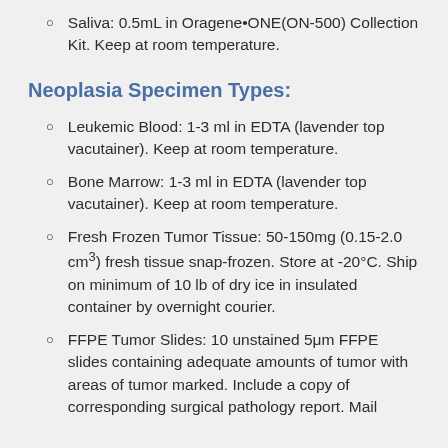Saliva: 0.5mL in Oragene•ONE(ON-500) Collection Kit. Keep at room temperature.
Neoplasia Specimen Types:
Leukemic Blood: 1-3 ml in EDTA (lavender top vacutainer). Keep at room temperature.
Bone Marrow: 1-3 ml in EDTA (lavender top vacutainer). Keep at room temperature.
Fresh Frozen Tumor Tissue: 50-150mg (0.15-2.0 cm³) fresh tissue snap-frozen. Store at -20°C. Ship on minimum of 10 lb of dry ice in insulated container by overnight courier.
FFPE Tumor Slides: 10 unstained 5μm FFPE slides containing adequate amounts of tumor with areas of tumor marked. Include a copy of corresponding surgical pathology report. Mail